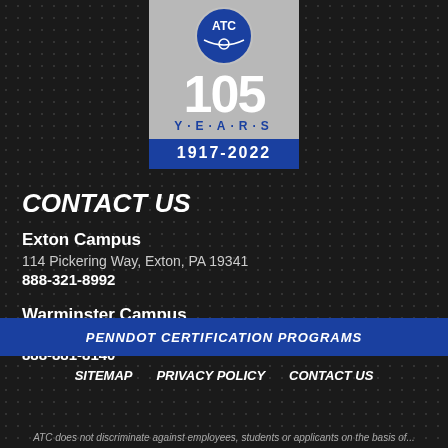[Figure (logo): ATC 105 Years 1917-2022 anniversary logo with circular ATC badge, grey and blue banner]
CONTACT US
Exton Campus
114 Pickering Way, Exton, PA 19341
888-321-8992
Warminster Campus
900 Johnsville Blvd, Warminster, PA 18974
888-881-8140
PENNDOT CERTIFICATION PROGRAMS
SITEMAP    PRIVACY POLICY    CONTACT US
ATC does not discriminate against employees, students or applicants on the basis of...